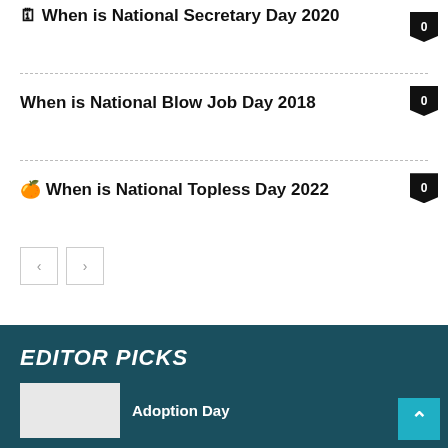🗓 When is National Secretary Day 2020
When is National Blow Job Day 2018
🍊 When is National Topless Day 2022
EDITOR PICKS
Adoption Day